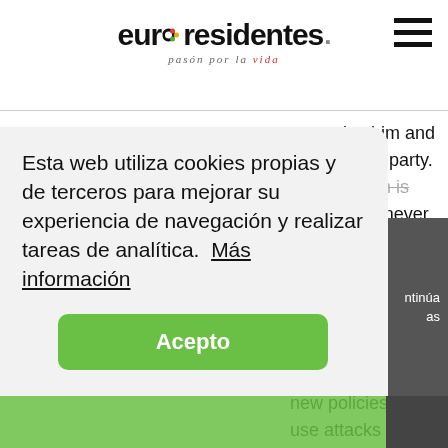euroresidentes — pasión por la vida
[Figure (photo): Photo of author Bryan Rippin, an older man with glasses and a white beard]
About Belief
Bryan Rippin
…monize him and the socialist party. The problem is that the PP never lose the last election, never accepted their defeat. So instead of using time to improve and offer new policies, they use attacks to try and convince the Spanish …ce
Esta web utiliza cookies propias y de terceros para mejorar su experiencia de navegación y realizar tareas de analítica.  Más información
Acepto
ntinúa
as